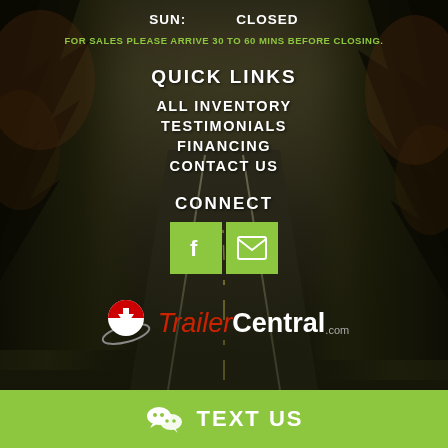SUN:   CLOSED
FOR SALES PLEASE ARRIVE 30 TO 60 MINS BEFORE CLOSING.
QUICK LINKS
ALL INVENTORY
TESTIMONIALS
FINANCING
CONTACT US
CONNECT
[Figure (logo): Facebook icon button (green square with white f) and email icon button (green square with white envelope)]
[Figure (logo): TrailerCentral.com logo with red swoosh/arrow icon]
TEXT US